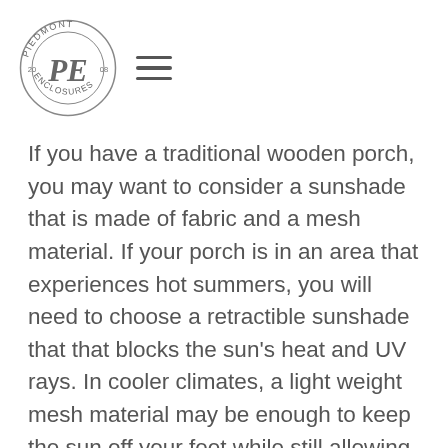[Figure (logo): Piedmont Enclosures circular logo with 'PE' monogram initials and '20 08' flanking the letters, surrounded by text 'PIEDMONT ENCLOSURES']
If you have a traditional wooden porch, you may want to consider a sunshade that is made of fabric and a mesh material. If your porch is in an area that experiences hot summers, you will need to choose a retractible sunshade that that blocks the sun's heat and UV rays. In cooler climates, a light weight mesh material may be enough to keep the sun off your feet while still allowing some breezes through.
You also need to consider your style when choosing